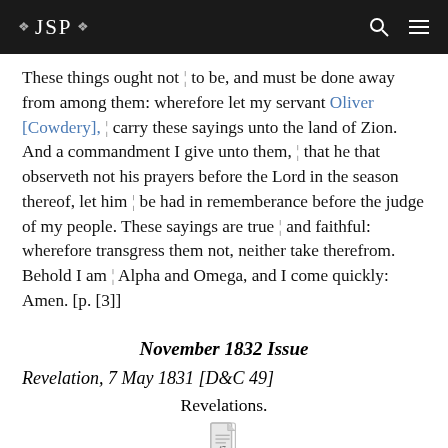❖ JSP ❖
These things ought not ¦ to be, and must be done away from among them: wherefore let my servant Oliver [Cowdery], ¦ carry these sayings unto the land of Zion. And a commandment I give unto them, ¦ that he that observeth not his prayers before the Lord in the season thereof, let him ¦ be had in rememberance before the judge of my people. These sayings are true ¦ and faithful: wherefore transgress them not, neither take therefrom. Behold I am ¦ Alpha and Omega, and I come quickly: Amen. [p. [3]]
November 1832 Issue
Revelation, 7 May 1831 [D&C 49]
Revelations.
[Figure (other): Document icon/thumbnail at bottom of page]